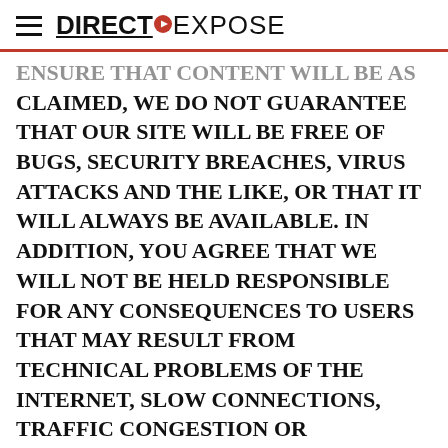DIRECT EXPOSE
ENSURE THAT CONTENT WILL BE AS CLAIMED, WE DO NOT GUARANTEE THAT OUR SITE WILL BE FREE OF BUGS, SECURITY BREACHES, VIRUS ATTACKS AND THE LIKE, OR THAT IT WILL ALWAYS BE AVAILABLE. IN ADDITION, YOU AGREE THAT WE WILL NOT BE HELD RESPONSIBLE FOR ANY CONSEQUENCES TO USERS THAT MAY RESULT FROM TECHNICAL PROBLEMS OF THE INTERNET, SLOW CONNECTIONS, TRAFFIC CONGESTION OR OVERLOAD OF OUR OR OTHER SERVERS.
EXCEPT AS EXPRESSLY STATED IN OUR PRIVACY POLICY, WE DO NOT MAKE ANY